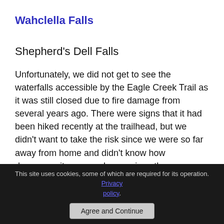Wahclella Falls
Shepherd's Dell Falls
Unfortunately, we did not get to see the waterfalls accessible by the Eagle Creek Trail as it was still closed due to fire damage from several years ago.  There were signs that it had been hiked recently at the trailhead, but we didn't want to take the risk since we were so far away from home and didn't know how dangerous it was, nor how serious the rangers might be about it.
Oregon Coast Waterfalls:
This site uses cookies, some of which are required for its operation. Privacy policy. Agree and Continue